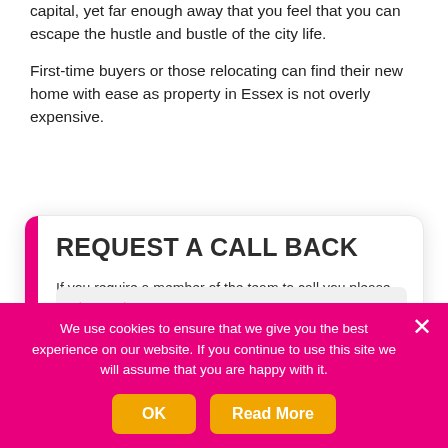capital, yet far enough away that you feel that you can escape the hustle and bustle of the city life.
First-time buyers or those relocating can find their new home with ease as property in Essex is not overly expensive.
REQUEST A CALL BACK
If you require a member of the team to call you please complete the simple form below.
First and Last Name
E-mail Address
Your Telephone Number
We use cookies to ensure that we give you the best experience on our website. If you continue to use this site we will assume that you are happy with it.
OK
Read More